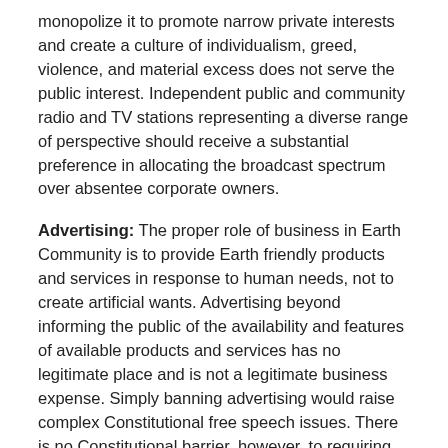monopolize it to promote narrow private interests and create a culture of individualism, greed, violence, and material excess does not serve the public interest. Independent public and community radio and TV stations representing a diverse range of perspective should receive a substantial preference in allocating the broadcast spectrum over absentee corporate owners.
Advertising: The proper role of business in Earth Community is to provide Earth friendly products and services in response to human needs, not to create artificial wants. Advertising beyond informing the public of the availability and features of available products and services has no legitimate place and is not a legitimate business expense. Simply banning advertising would raise complex Constitutional free speech issues. There is no Constitutional barrier, however, to requiring that the costs of advertising beyond providing basic information on product availability and specifications be paid from after tax revenues, the same as other forms of speech.